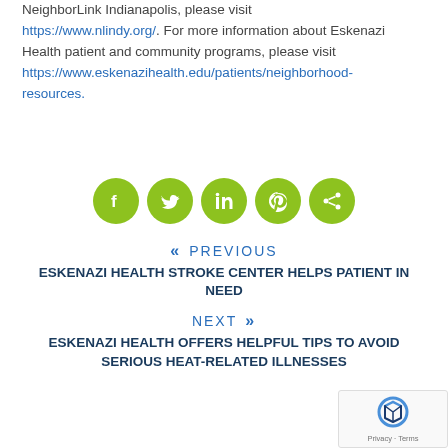NeighborLink Indianapolis, please visit https://www.nlindy.org/. For more information about Eskenazi Health patient and community programs, please visit https://www.eskenazihealth.edu/patients/neighborhood-resources.
[Figure (infographic): Five green circular social media icons: Facebook, Twitter, LinkedIn, Pinterest, and Share]
<< PREVIOUS
ESKENAZI HEALTH STROKE CENTER HELPS PATIENT IN NEED
NEXT >>
ESKENAZI HEALTH OFFERS HELPFUL TIPS TO AVOID SERIOUS HEAT-RELATED ILLNESSES
[Figure (logo): reCAPTCHA logo with Privacy - Terms text]